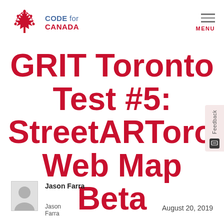[Figure (logo): Code for Canada logo with maple leaf network icon and red/blue text]
GRIT Toronto Test #5: StreetARToronto Web Map Beta
[Figure (photo): Jason Farra author avatar thumbnail]
Jason Farra   August 20, 2019